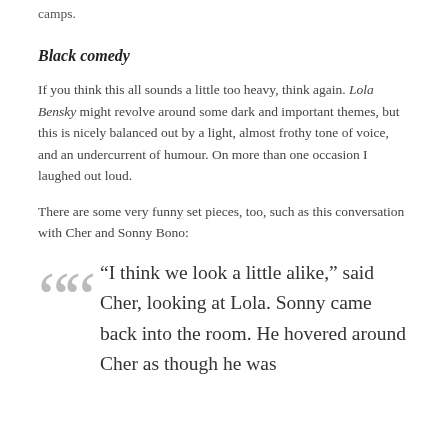camps.
Black comedy
If you think this all sounds a little too heavy, think again. Lola Bensky might revolve around some dark and important themes, but this is nicely balanced out by a light, almost frothy tone of voice, and an undercurrent of humour. On more than one occasion I laughed out loud.
There are some very funny set pieces, too, such as this conversation with Cher and Sonny Bono:
“I think we look a little alike,” said Cher, looking at Lola. Sonny came back into the room. He hovered around Cher as though he was